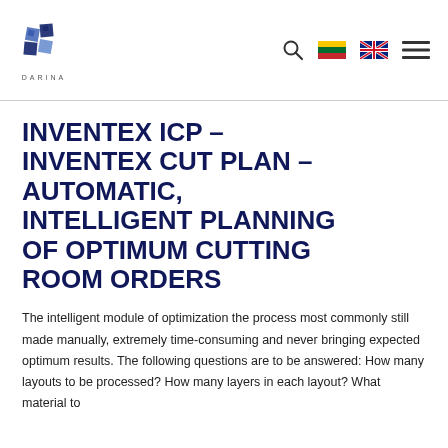DARINA logo and navigation icons (search, Lithuanian flag, UK flag, menu)
INVENTEX ICP – INVENTEX CUT PLAN – AUTOMATIC, INTELLIGENT PLANNING OF OPTIMUM CUTTING ROOM ORDERS
The intelligent module of optimization the process most commonly still made manually, extremely time-consuming and never bringing expected optimum results. The following questions are to be answered: How many layouts to be processed? How many layers in each layout? What material to